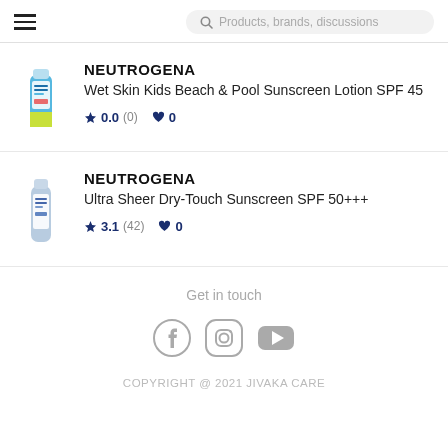≡  [search] Products, brands, discussions
NEUTROGENA
Wet Skin Kids Beach & Pool Sunscreen Lotion SPF 45
★ 0.0 (0)  ♥ 0
NEUTROGENA
Ultra Sheer Dry-Touch Sunscreen SPF 50+++
★ 3.1 (42)  ♥ 0
Get in touch
[Figure (logo): Facebook, Instagram, YouTube social media icons]
COPYRIGHT @ 2021 JIVAKA CARE